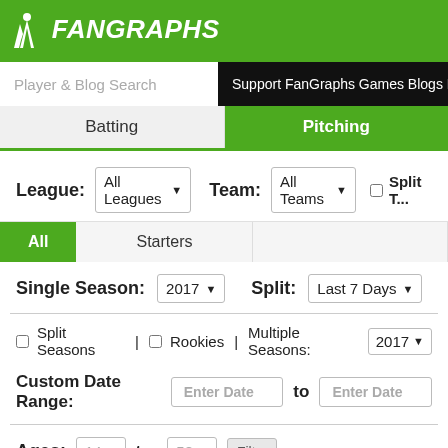FanGraphs
Player & Blog Search  Support FanGraphs Games Blogs Projectio...
Batting  Pitching
League: All Leagues ▼  Team: All Teams ▼  □ Split T...
All  Starters
Single Season: 2017 ▼  Split: Last 7 Days ▼
□ Split Seasons | □ Rookies | Multiple Seasons: 2017 ▼
Custom Date Range: Enter Date  to  Enter Date
Ages: 14 ▼ to: 58 ▼  Filt...